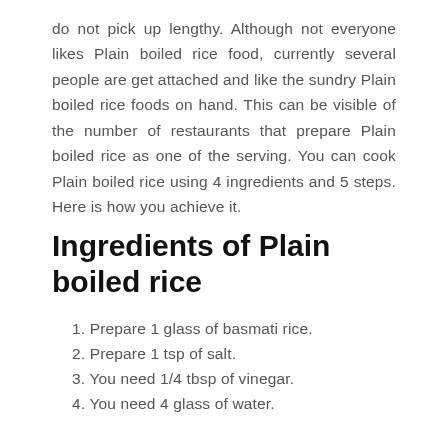do not pick up lengthy. Although not everyone likes Plain boiled rice food, currently several people are get attached and like the sundry Plain boiled rice foods on hand. This can be visible of the number of restaurants that prepare Plain boiled rice as one of the serving. You can cook Plain boiled rice using 4 ingredients and 5 steps. Here is how you achieve it.
Ingredients of Plain boiled rice
Prepare 1 glass of basmati rice.
Prepare 1 tsp of salt.
You need 1/4 tbsp of vinegar.
You need 4 glass of water.